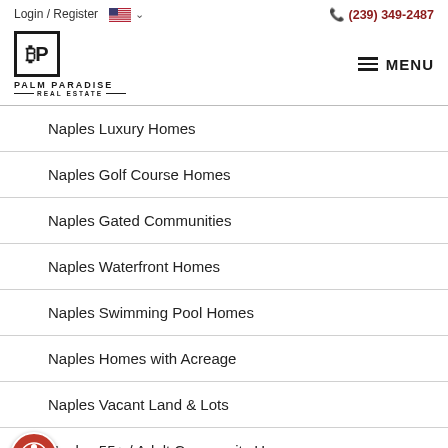Login / Register  (239) 349-2487
[Figure (logo): Palm Paradise Real Estate logo with stylized PP in a square box and company name below]
Naples Luxury Homes
Naples Golf Course Homes
Naples Gated Communities
Naples Waterfront Homes
Naples Swimming Pool Homes
Naples Homes with Acreage
Naples Vacant Land & Lots
Naples 55+ / Adult Community Homes